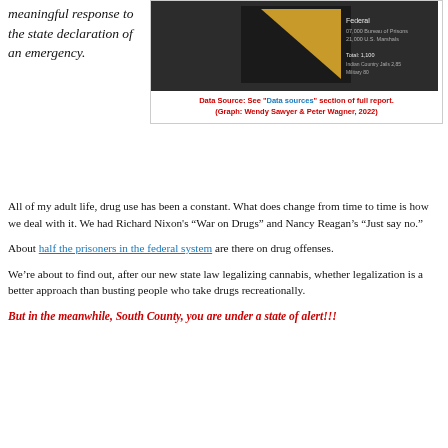meaningful response to the state declaration of an emergency.
[Figure (infographic): Dark-background infographic showing incarceration statistics with a gold/yellow triangle shape and text labels for Federal, state, and local categories.]
Data Source: See "Data sources" section of full report. (Graph: Wendy Sawyer & Peter Wagner, 2022)
All of my adult life, drug use has been a constant. What does change from time to time is how we deal with it. We had Richard Nixon's “War on Drugs” and Nancy Reagan’s “Just say no.”
About half the prisoners in the federal system are there on drug offenses.
We’re about to find out, after our new state law legalizing cannabis, whether legalization is a better approach than busting people who take drugs recreationally.
But in the meanwhile, South County, you are under a state of alert!!!